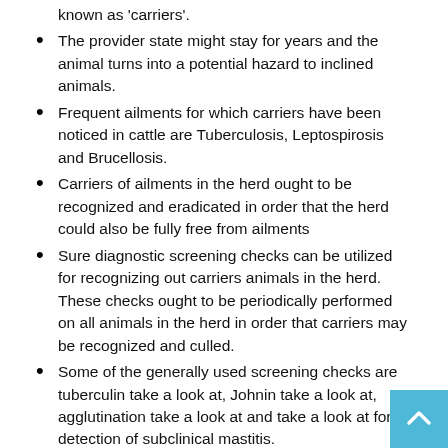known as 'carriers'.
The provider state might stay for years and the animal turns into a potential hazard to inclined animals.
Frequent ailments for which carriers have been noticed in cattle are Tuberculosis, Leptospirosis and Brucellosis.
Carriers of ailments in the herd ought to be recognized and eradicated in order that the herd could also be fully free from ailments
Sure diagnostic screening checks can be utilized for recognizing out carriers animals in the herd. These checks ought to be periodically performed on all animals in the herd in order that carriers may be recognized and culled.
Some of the generally used screening checks are tuberculin take a look at, Johnin take a look at, agglutination take a look at and take a look at for detection of subclinical mastitis.